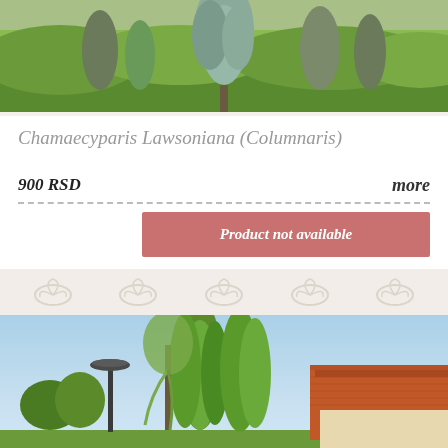[Figure (photo): Photo of Chamaecyparis Lawsoniana (Columnaris) tree - conifer with blue-green foliage against green hedge background]
Chamaecyparis Lawsoniana (Columnaris)
900 RSD
more
Product not available
[Figure (photo): Photo of tall columnar conifer trees (Thuja or similar) in a garden setting with a street lamp and a house with orange/red tiled roof in the background, blue sky visible]